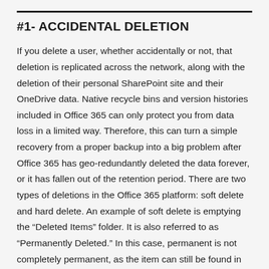#1- ACCIDENTAL DELETION
If you delete a user, whether accidentally or not, that deletion is replicated across the network, along with the deletion of their personal SharePoint site and their OneDrive data. Native recycle bins and version histories included in Office 365 can only protect you from data loss in a limited way. Therefore, this can turn a simple recovery from a proper backup into a big problem after Office 365 has geo-redundantly deleted the data forever, or it has fallen out of the retention period. There are two types of deletions in the Office 365 platform: soft delete and hard delete. An example of soft delete is emptying the “Deleted Items” folder. It is also referred to as “Permanently Deleted.” In this case, permanent is not completely permanent, as the item can still be found in the Recoverable Items mailbox. A hard delete is when an item is tagged to be purged from the mailbox database completely. Once this happens, it is unrecoverable, period.